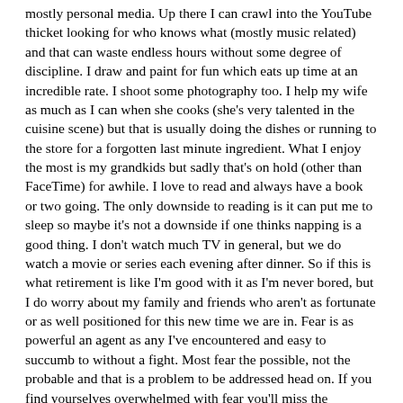mostly personal media. Up there I can crawl into the YouTube thicket looking for who knows what (mostly music related) and that can waste endless hours without some degree of discipline. I draw and paint for fun which eats up time at an incredible rate. I shoot some photography too. I help my wife as much as I can when she cooks (she's very talented in the cuisine scene) but that is usually doing the dishes or running to the store for a forgotten last minute ingredient. What I enjoy the most is my grandkids but sadly that's on hold (other than FaceTime) for awhile. I love to read and always have a book or two going. The only downside to reading is it can put me to sleep so maybe it's not a downside if one thinks napping is a good thing. I don't watch much TV in general, but we do watch a movie or series each evening after dinner. So if this is what retirement is like I'm good with it as I'm never bored, but I do worry about my family and friends who aren't as fortunate or as well positioned for this new time we are in. Fear is as powerful an agent as any I've encountered and easy to succumb to without a fight. Most fear the possible, not the probable and that is a problem to be addressed head on. If you find yourselves overwhelmed with fear you'll miss the abundance and love life has to offer. We will get through this together with family and friends to help lighten our load. Peace and Love to all. CrewC